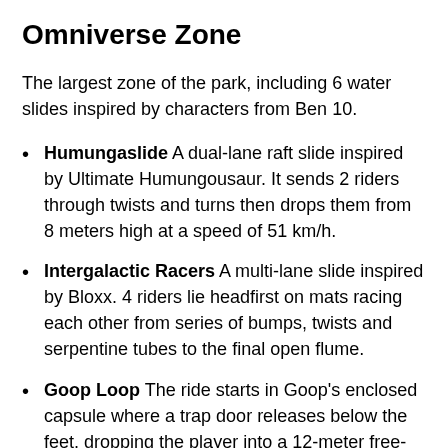Omniverse Zone
The largest zone of the park, including 6 water slides inspired by characters from Ben 10.
Humungaslide A dual-lane raft slide inspired by Ultimate Humungousaur. It sends 2 riders through twists and turns then drops them from 8 meters high at a speed of 51 km/h.
Intergalactic Racers A multi-lane slide inspired by Bloxx. 4 riders lie headfirst on mats racing each other from series of bumps, twists and serpentine tubes to the final open flume.
Goop Loop The ride starts in Goop's enclosed capsule where a trap door releases below the feet, dropping the player into a 12-meter free-fall then propelling him/her